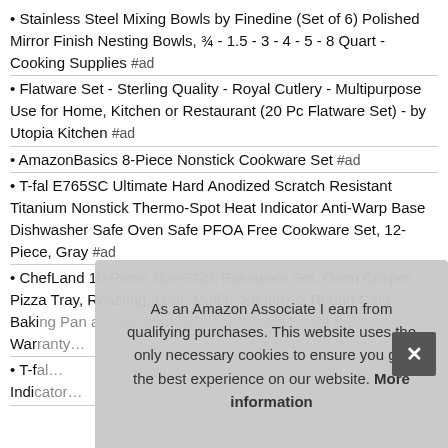Stainless Steel Mixing Bowls by Finedine (Set of 6) Polished Mirror Finish Nesting Bowls, ¾ - 1.5 - 3 - 4 - 5 - 8 Quart - Cooking Supplies #ad
Flatware Set - Sterling Quality - Royal Cutlery - Multipurpose Use for Home, Kitchen or Restaurant (20 Pc Flatware Set) - by Utopia Kitchen #ad
AmazonBasics 8-Piece Nonstick Cookware Set #ad
T-fal E765SC Ultimate Hard Anodized Scratch Resistant Titanium Nonstick Thermo-Spot Heat Indicator Anti-Warp Base Dishwasher Safe Oven Safe PFOA Free Cookware Set, 12-Piece, Gray #ad
ChefLand 10-Piece Non-Stick Bakeware Set, Oven Crisper, Pizza Tray, Roasting, Loaf, Muffin, Square, 2 Round Cake Baki… [obscured] and Medium Nonstick Cookie Sheet Bak… War… #ad
T-f… Indi… [partially obscured]
As an Amazon Associate I earn from qualifying purchases. This website uses the only necessary cookies to ensure you get the best experience on our website. More information